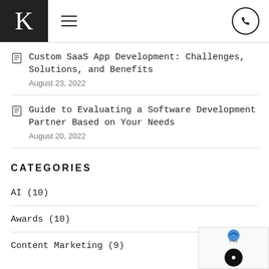K (logo) | hamburger menu | phone button
Custom SaaS App Development: Challenges, Solutions, and Benefits
August 23, 2022
Guide to Evaluating a Software Development Partner Based on Your Needs
August 20, 2022
CATEGORIES
AI (10)
Awards (10)
Content Marketing (9)